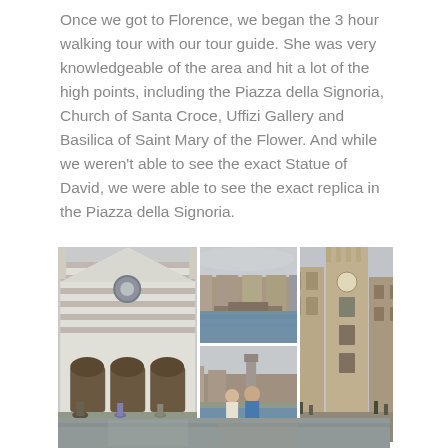Once we got to Florence, we began the 3 hour walking tour with our tour guide. She was very knowledgeable of the area and hit a lot of the high points, including the Piazza della Signoria, Church of Santa Croce, Uffizi Gallery and Basilica of Saint Mary of the Flower. And while we weren't able to see the actual Statue of David, we were able to see the exact replica in the Piazza della Signoria.
[Figure (photo): Three travel photos from Florence, Italy arranged in a grid: left photo shows the Church of Santa Croce facade with tourists in front, center-top shows the Arno river with bridges and buildings, center-bottom shows two people posing on a bridge over the Arno river, right photo shows the Palazzo Vecchio tower in the Piazza della Signoria with people walking in the square.]